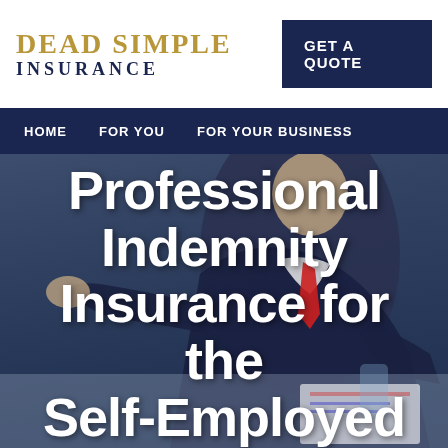[Figure (logo): Dead Simple Insurance logo with gold text for 'DEAD SIMPLE' and navy text for 'INSURANCE']
GET A QUOTE
HOME    FOR YOU    FOR YOUR BUSINESS
[Figure (photo): Background photo of a businessman in a navy suit with red tie, gesturing with hands over a desk with documents]
Professional Indemnity Insurance for the Self-Employed